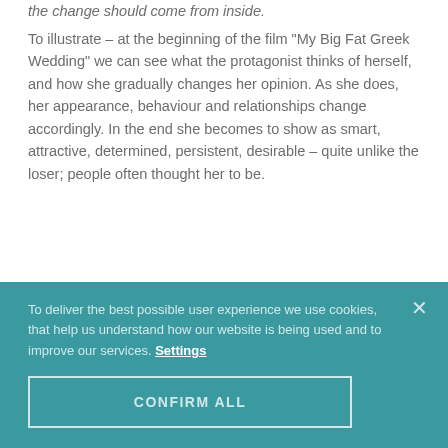the change should come from inside.
To illustrate – at the beginning of the film "My Big Fat Greek Wedding" we can see what the protagonist thinks of herself, and how she gradually changes her opinion. As she does, her appearance, behaviour and relationships change accordingly. In the end she becomes to show as smart, attractive, determined, persistent, desirable – quite unlike the loser; people often thought her to be.
So – this is the exact same person – identical potentials and capacities. But once she changes her beliefs, she shines her brightest and starts living in an entirely different
To deliver the best possible user experience we use cookies, that help us understand how our website is being used and to improve our services. Settings
CONFIRM ALL